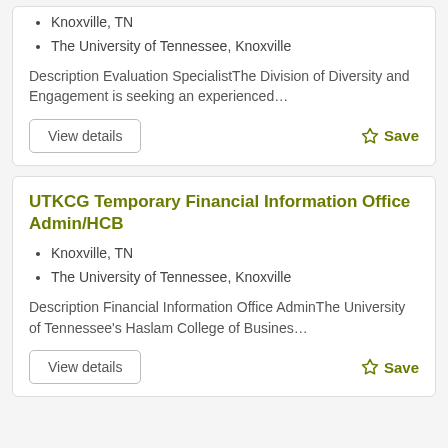Knoxville, TN
The University of Tennessee, Knoxville
Description Evaluation SpecialistThe Division of Diversity and Engagement is seeking an experienced…
View details
Save
UTKCG Temporary Financial Information Office Admin/HCB
Knoxville, TN
The University of Tennessee, Knoxville
Description Financial Information Office AdminThe University of Tennessee's Haslam College of Busines…
View details
Save